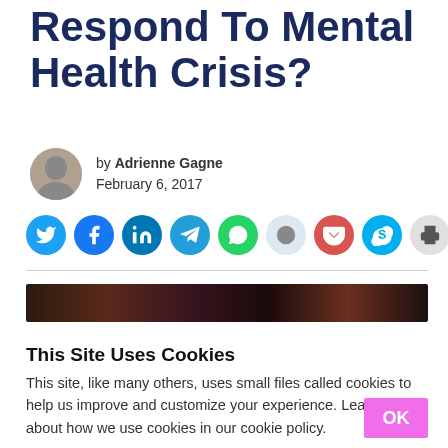Respond To Mental Health Crisis?
by Adrienne Gagne
February 6, 2017
[Figure (infographic): Social share buttons: Twitter, Facebook, LinkedIn, Telegram, WhatsApp, Reddit, Pocket, Skype, Print, Email]
[Figure (photo): Dark reddish-brown hero image at top of article]
This Site Uses Cookies
This site, like many others, uses small files called cookies to help us improve and customize your experience. Learn more about how we use cookies in our cookie policy.